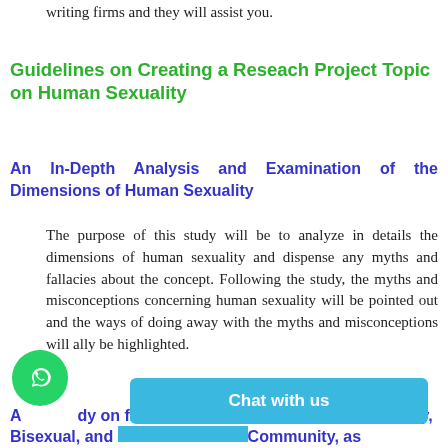writing firms and they will assist you.
Guidelines on Creating a Reseach Project Topic on Human Sexuality
An In-Depth Analysis and Examination of the Dimensions of Human Sexuality
The purpose of this study will be to analyze in details the dimensions of human sexuality and dispense any myths and fallacies about the concept. Following the study, the myths and misconceptions concerning human sexuality will be pointed out and the ways of doing away with the myths and misconceptions will ally be highlighted.
A study on f... Lesbian, Gay, Bisexual, and ... Community, as